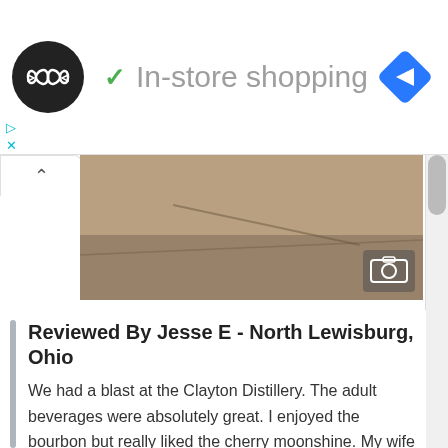[Figure (logo): Round black logo with double infinity/arrow symbol in white, next to green checkmark and 'In-store shopping' label and blue navigation diamond icon]
[Figure (photo): Partial photo of a sandy or gravelly outdoor surface, with an image gallery icon in the bottom right corner]
Reviewed By Jesse E - North Lewisburg, Ohio
We had a blast at the Clayton Distillery. The adult beverages were absolutely great. I enjoyed the bourbon but really liked the cherry moonshine. My wife liked the slushy with rhubarb flavored alcohol added. Prices for bottle were very reasonable for the quality. Nice gift shop and tasting room. Plenty of free parking made it even more fun.